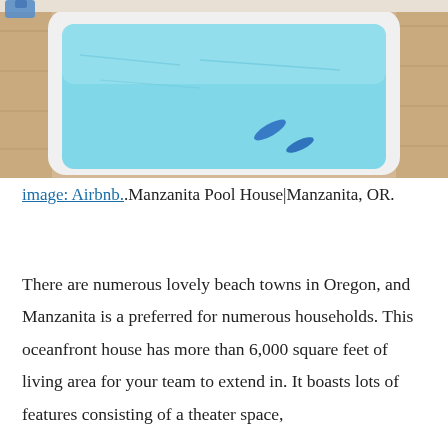[Figure (photo): Indoor swimming pool with turquoise water, white rounded edges, and light wood flooring surround. Blue pool noodles or flotation devices visible in the water.]
image: Airbnb..Manzanita Pool House|Manzanita, OR.
There are numerous lovely beach towns in Oregon, and Manzanita is a preferred for numerous households. This oceanfront house has more than 6,000 square feet of living area for your team to extend in. It boasts lots of features consisting of a theater space,